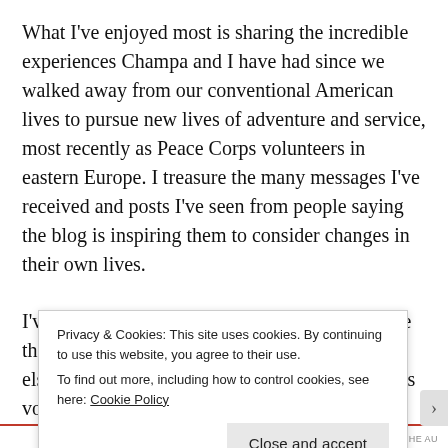What I've enjoyed most is sharing the incredible experiences Champa and I have had since we walked away from our conventional American lives to pursue new lives of adventure and service, most recently as Peace Corps volunteers in eastern Europe. I treasure the many messages I've received and posts I've seen from people saying the blog is inspiring them to consider changes in their own lives.
I've always been a quick writer, so I can produce the blog while remaining active with everything else I am privileged to be doing as a Peace Corps volunteer.
Privacy & Cookies: This site uses cookies. By continuing to use this website, you agree to their use.
To find out more, including how to control cookies, see here: Cookie Policy
Close and accept